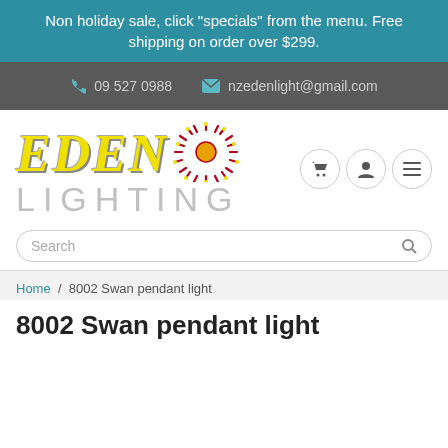Non holiday sale, click "specials" from the menu. Free shipping on order over $299.
09 527 0988   nzedenlight@gmail.com
[Figure (logo): Eden Lighting logo with sun graphic, yellow EDEN text and grey LIGHTING text]
Search
Home / 8002 Swan pendant light
8002 Swan pendant light